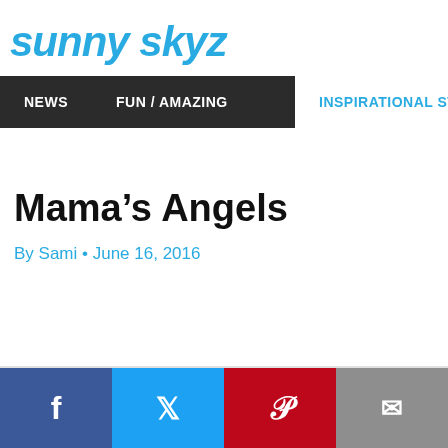sunny skyz
NEWS   FUN / AMAZING   INSPIRATIONAL STORIES
Mama's Angels
By Sami • June 16, 2016